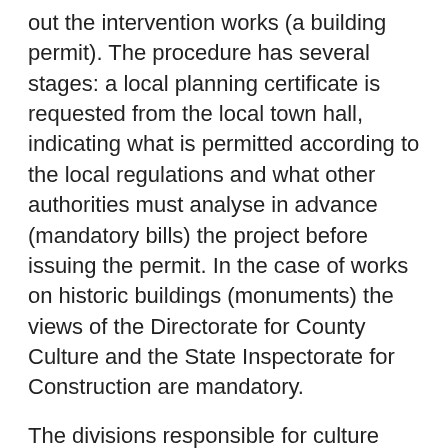out the intervention works (a building permit). The procedure has several stages: a local planning certificate is requested from the local town hall, indicating what is permitted according to the local regulations and what other authorities must analyse in advance (mandatory bills) the project before issuing the permit. In the case of works on historic buildings (monuments) the views of the Directorate for County Culture and the State Inspectorate for Construction are mandatory.
The divisions responsible for culture evaluate (in theory) the way in which, through the project, the heritage value of the building is preserved and may request modifications to the solution so as to ensure a quality intervention in compliance with the principles of heritage protection. The culture divisions